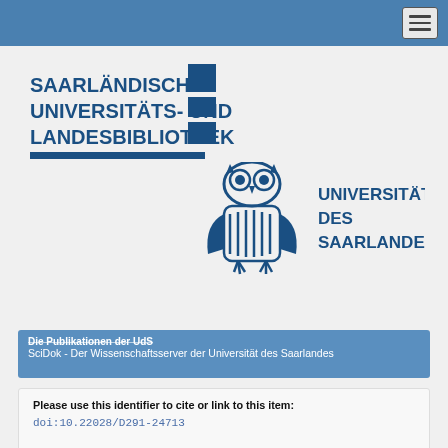Navigation bar with hamburger menu
[Figure (logo): Saarländische Universitäts- und Landesbibliothek logo with blue text and geometric stacked rectangles symbol]
[Figure (logo): Universität des Saarlandes logo with owl emblem and blue text]
Die Publikationen der UdS
SciDok - Der Wissenschaftsserver der Universität des Saarlandes
Please use this identifier to cite or link to this item: doi:10.22028/D291-24713